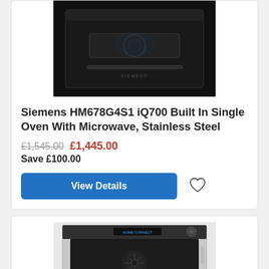[Figure (photo): Siemens black built-in single oven with microwave product photo on white background]
Siemens HM678G4S1 iQ700 Built In Single Oven With Microwave, Stainless Steel
£1,545.00 £1,445.00 Save £100.00
View Details
[Figure (photo): Stainless steel built-in single oven with open door showing interior fan and racks, second product listing]
Message